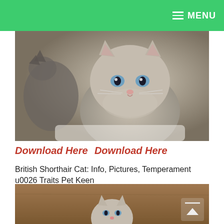MENU
[Figure (photo): Close-up photo of a fluffy grey British Shorthair kitten with blue eyes and a pink nose, facing the camera. A second cat is visible blurred in the background on the left.]
Download Here  Download Here
British Shorthair Cat: Info, Pictures, Temperament u0026 Traits Pet Keen
[Figure (photo): Photo of a small grey British Shorthair kitten viewed from the front, sitting on a wooden surface. A scroll-up arrow icon is visible in the lower right corner.]